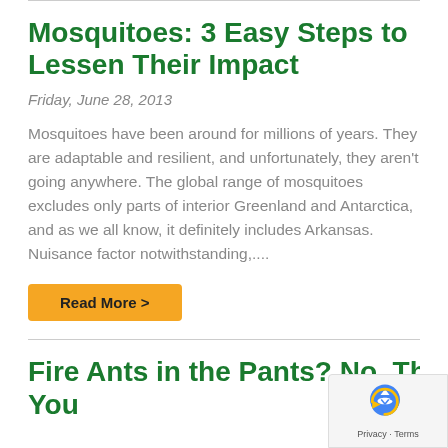Mosquitoes: 3 Easy Steps to Lessen Their Impact
Friday, June 28, 2013
Mosquitoes have been around for millions of years. They are adaptable and resilient, and unfortunately, they aren't going anywhere. The global range of mosquitoes excludes only parts of interior Greenland and Antarctica, and as we all know, it definitely includes Arkansas. Nuisance factor notwithstanding,...
Read More >
Fire Ants in the Pants? No, Thank You